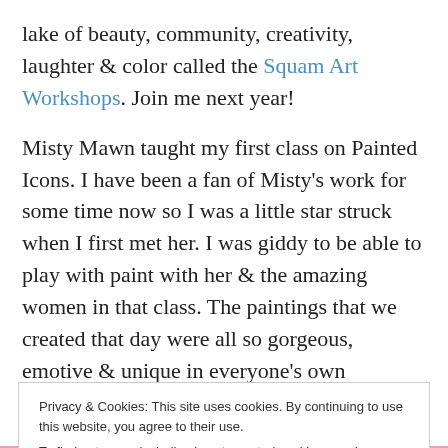lake of beauty, community, creativity, laughter & color called the Squam Art Workshops. Join me next year!
Misty Mawn taught my first class on Painted Icons. I have been a fan of Misty’s work for some time now so I was a little star struck when I first met her. I was giddy to be able to play with paint with her & the amazing women in that class. The paintings that we created that day were all so gorgeous, emotive & unique in everyone’s own expression.
Privacy & Cookies: This site uses cookies. By continuing to use this website, you agree to their use. To find out more, including how to control cookies, see here: Cookie Policy
Close and accept
Advertisements